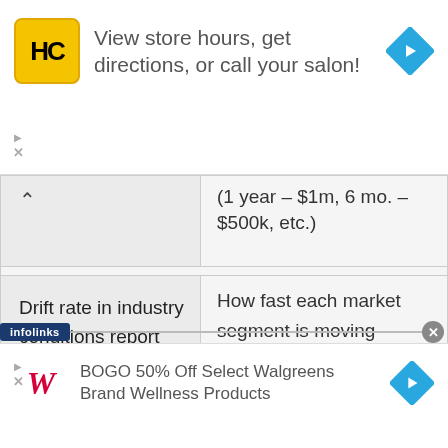[Figure (other): Advertisement banner: HC salon logo (yellow square with HC text), text 'View store hours, get directions, or call your salon!', blue diamond arrow icon on right]
|  | (1 year – $1m, 6 mo. – $500k, etc.) |
| Drift rate in industry conditions report | How fast each market segment is moving across the perceptual map |
[Figure (other): Advertisement banner: Walgreens W logo, text 'BOGO 50% Off Select Walgreens Brand Wellness Products', blue diamond arrow icon on right]